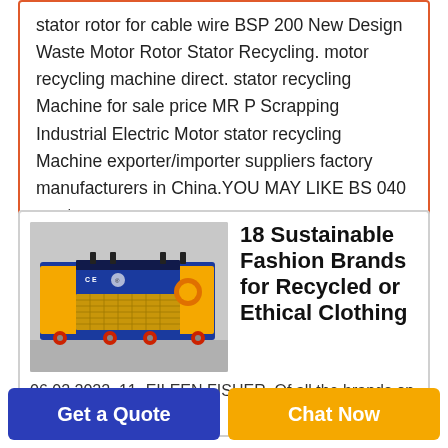stator rotor for cable wire BSP 200 New Design Waste Motor Rotor Stator Recycling. motor recycling machine direct. stator recycling Machine for sale price MR P Scrapping Industrial Electric Motor stator recycling Machine exporter/importer suppliers factory manufacturers in China.YOU MAY LIKE BS 040 waste
[Figure (photo): Industrial motor rotor stator recycling machine, blue and yellow colored, CE certified, on wheels, in a warehouse setting]
18 Sustainable Fashion Brands for Recycled or Ethical Clothing
06 02 2022  11. EILEEN FISHER. Of all the brands on this
Get a Quote
Chat Now